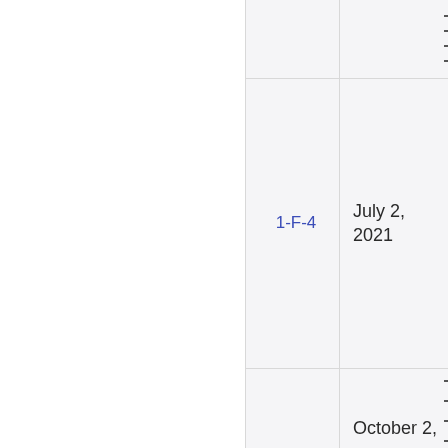|  | ID | Date |  |
| --- | --- | --- | --- |
|  |  |  |  |
|  | 1-F-4 | July 2, 2021 |  |
|  |  | October 2, |  |